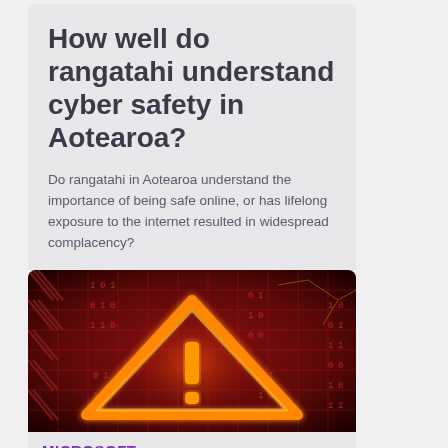How well do rangatahi understand cyber safety in Aotearoa?
Do rangatahi in Aotearoa understand the importance of being safe online, or has lifelong exposure to the internet resulted in widespread complacency?
[Figure (photo): Dark red digital background with binary numbers and grid lines, featuring a bright orange neon warning triangle with exclamation mark in the center]
MICROSOFT